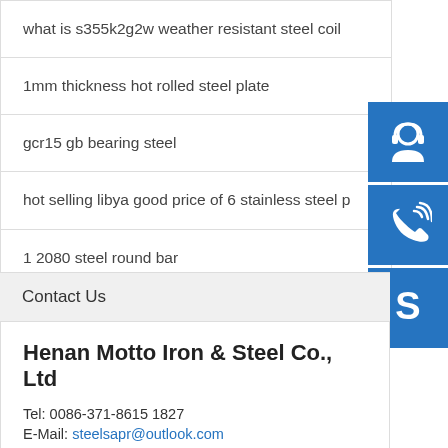what is s355k2g2w weather resistant steel coil
1mm thickness hot rolled steel plate
gcr15 gb bearing steel
hot selling libya good price of 6 stainless steel p
1 2080 steel round bar
[Figure (illustration): Three blue square icon buttons: customer service headset icon, phone/call icon, and Skype icon]
Contact Us
Henan Motto Iron & Steel Co., Ltd
Tel: 0086-371-8615 1827
E-Mail: steelsapr@outlook.com
Address: Development Zone, Zhengzhou, China